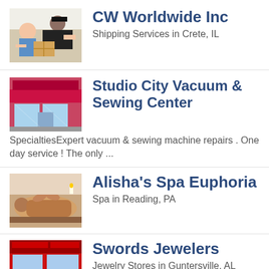CW Worldwide Inc
Shipping Services in Crete, IL
Studio City Vacuum & Sewing Center
SpecialtiesExpert vacuum & sewing machine repairs . One day service ! The only ...
Alisha's Spa Euphoria
Spa in Reading, PA
Swords Jewelers
Jewelry Stores in Guntersville, AL
Lafferty, Gallagher & Scott, LLC